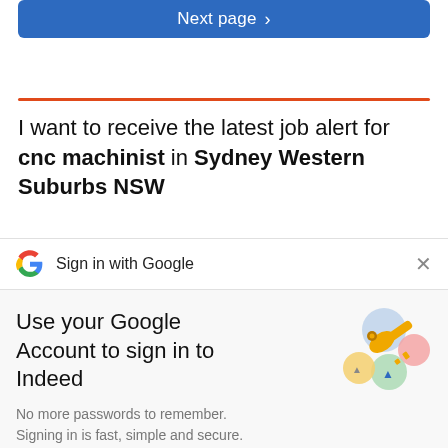[Figure (screenshot): Blue 'Next page >' button at top]
I want to receive the latest job alert for cnc machinist in Sydney Western Suburbs NSW
Sign in with Google
Use your Google Account to sign in to Indeed
No more passwords to remember. Signing in is fast, simple and secure.
Continue